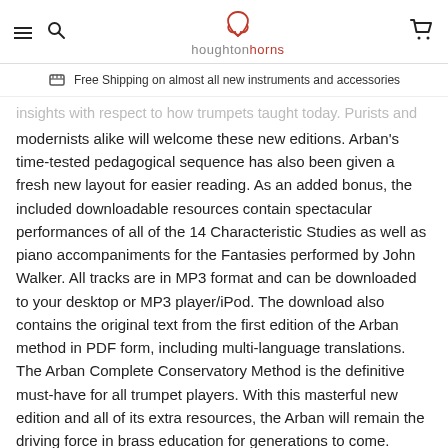houghtonhorns
Free Shipping on almost all new instruments and accessories
insights with respect to how trumpets taught today. Purists and modernists alike will welcome these new editions. Arban’s time-tested pedagogical sequence has also been given a fresh new layout for easier reading. As an added bonus, the included downloadable resources contain spectacular performances of all of the 14 Characteristic Studies as well as piano accompaniments for the Fantasies performed by John Walker. All tracks are in MP3 format and can be downloaded to your desktop or MP3 player/iPod. The download also contains the original text from the first edition of the Arban method in PDF form, including multi-language translations. The Arban Complete Conservatory Method is the definitive must-have for all trumpet players. With this masterful new edition and all of its extra resources, the Arban will remain the driving force in brass education for generations to come.